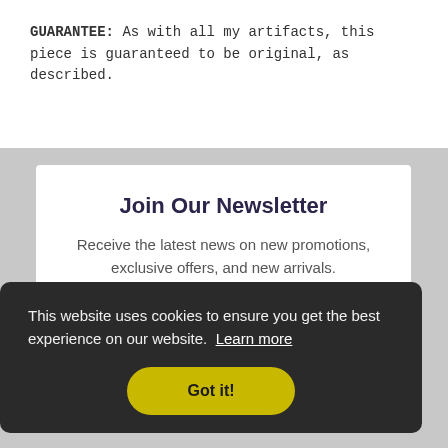GUARANTEE: As with all my artifacts, this piece is guaranteed to be original, as described.
Join Our Newsletter
Receive the latest news on new promotions, exclusive offers, and new arrivals.
This website uses cookies to ensure you get the best experience on our website. Learn more
Got it!